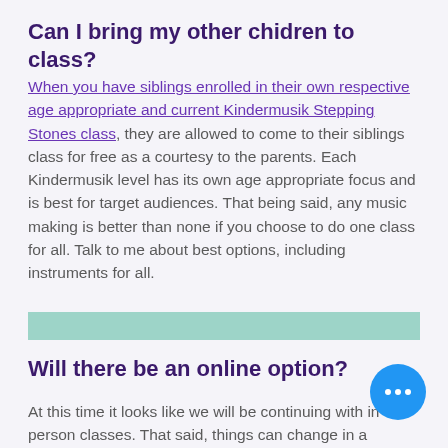Can I bring my other chidren to class?
When you have siblings enrolled in their own respective age appropriate and current Kindermusik Stepping Stones class, they are allowed to come to their siblings class for free as a courtesy to the parents.  Each Kindermusik level has its own age appropriate focus and is best for target audiences.  That being said, any music making is better than none if you choose to do one class for all.  Talk to me about best options, including instruments for all.
Will there be an online option?
At this time it looks like we will be continuing with in-person classes.  That said, things can change in a moment in our continuing community health practices.  We have many safety measures in place in our studio, including having a large space suitable for our size of clients...